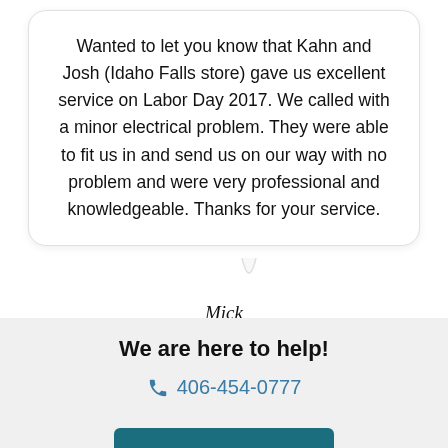Wanted to let you know that Kahn and Josh (Idaho Falls store) gave us excellent service on Labor Day 2017. We called with a minor electrical problem. They were able to fit us in and send us on our way with no problem and were very professional and knowledgeable. Thanks for your service.
Mick
We are here to help!
406-454-0777